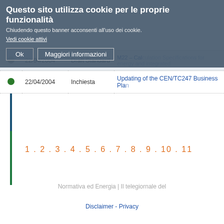Questo sito utilizza cookie per le proprie funzionalità
Chiudendo questo banner acconsenti all'uso dei cookie.
Vedi cookie attivi
|  | Date | Type | Description |
| --- | --- | --- | --- |
| ● | 22/04/2004 | Draft Standard | M22 – Calculation Specifications for energy and integrated... |
| ● | 22/04/2004 | Inchiesta | Updating of the CEN/TC247 Business Plan... |
1 . 2 . 3 . 4 . 5 . 6 . 7 . 8 . 9 . 10 . 11
Normativa ed Energia | Il telegiornale del
Disclaimer - Privacy